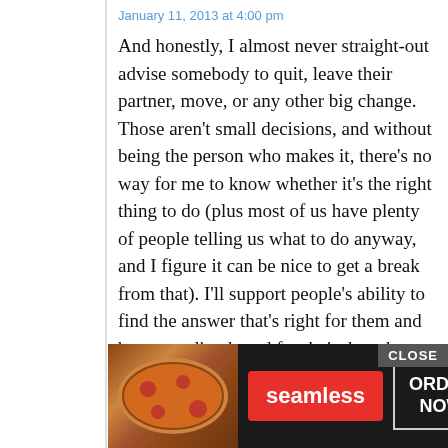January 11, 2013 at 4:00 pm
And honestly, I almost never straight-out advise somebody to quit, leave their partner, move, or any other big change. Those aren't small decisions, and without being the person who makes it, there's no way for me to know whether it's the right thing to do (plus most of us have plenty of people telling us what to do anyway, and I figure it can be nice to get a break from that). I'll support people's ability to find the answer that's right for them and be a sounding board for their thoughts, but I'm definitely a bad friend for somebody who thinks that caring means weighing in.
LMW
Ja
L
[Figure (screenshot): Advertisement banner: seamless food delivery ad with pizza image, red seamless button, and ORDER NOW button with CLOSE button in top right corner]